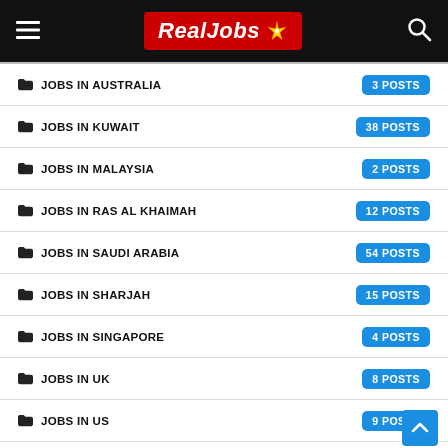RealJobs
JOBS IN AUSTRALIA — 3 POSTS
JOBS IN KUWAIT — 38 POSTS
JOBS IN MALAYSIA — 2 POSTS
JOBS IN RAS AL KHAIMAH — 12 POSTS
JOBS IN SAUDI ARABIA — 54 POSTS
JOBS IN SHARJAH — 15 POSTS
JOBS IN SINGAPORE — 4 POSTS
JOBS IN UK — 8 POSTS
JOBS IN US — 9 POSTS
KHALEEJ TIMES JOBS — 4 POSTS